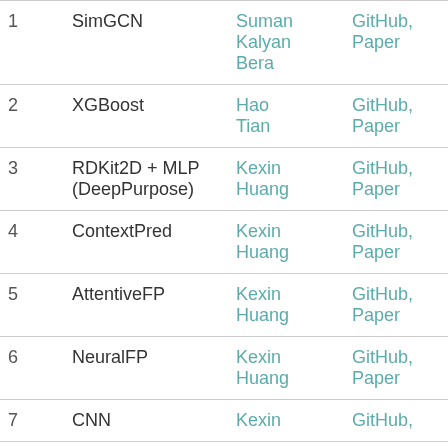| # | Method | Author | Links | Stars |
| --- | --- | --- | --- | --- |
| 1 | SimGCN | Suman Kalyan Bera | GitHub, Paper | 1,10… |
| 2 | XGBoost | Hao Tian | GitHub, Paper | 29… |
| 3 | RDKit2D + MLP (DeepPurpose) | Kexin Huang | GitHub, Paper | 633… |
| 4 | ContextPred | Kexin Huang | GitHub, Paper | 2,0… |
| 5 | AttentiveFP | Kexin Huang | GitHub, Paper | 300… |
| 6 | NeuralFP | Kexin Huang | GitHub, Paper | 480… |
| 7 | CNN | Kexin | GitHub, | 226… |